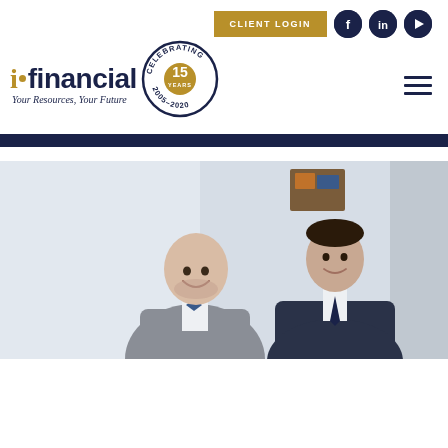[Figure (logo): i.financial logo with celebrating 15 years badge (2005-2020), tagline: Your Resources, Your Future]
[Figure (photo): Two men in suits smiling and looking upward, one in a grey suit with bow tie, one in a dark suit with tie]